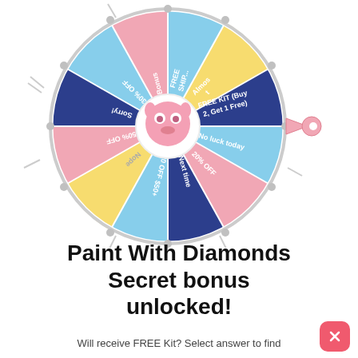[Figure (infographic): A colorful prize spin wheel with multiple segments including: FREE SHIPPING, Almost, FREE KIT (Buy 2 Get 1 Free), No luck today, 20% OFF, Next time, $20 OFF $50+, Nope, 50% OFF, Sorry!, 30% OFF, Bonus. Center has a cartoon pink mascot. Pink arrow pointer on right side.]
Paint With Diamonds Secret bonus unlocked!
Will receive FREE Kit? Select answer to find